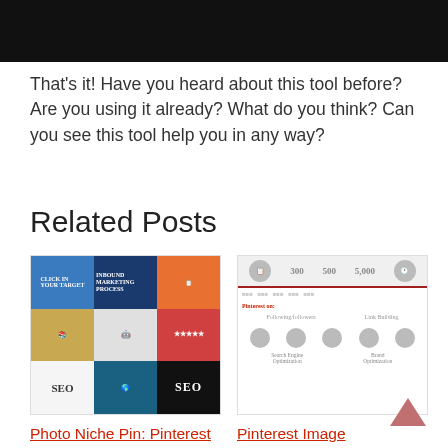[Figure (photo): Dark/black banner image at top of page, partially cropped]
That’s it! Have you heard about this tool before? Are you using it already? What do you think? Can you see this tool help you in any way?
Related Posts
[Figure (photo): Thumbnail image for 'Photo Niche Pin: Pinterest Marketing Strategies That Works!' showing a 3x3 grid of Pinterest-style images including marketing, SEO, and process topics]
Photo Niche Pin: Pinterest Marketing Strategies That Works!
[Figure (infographic): Thumbnail infographic for 'Pinterest Image Optimization, Using Pinterest for Brand Exposure' showing icons, stats (300, 500, 5000), and Pinterest optimization categories]
Pinterest Image Optimization, Using Pinterest for Brand Exposure